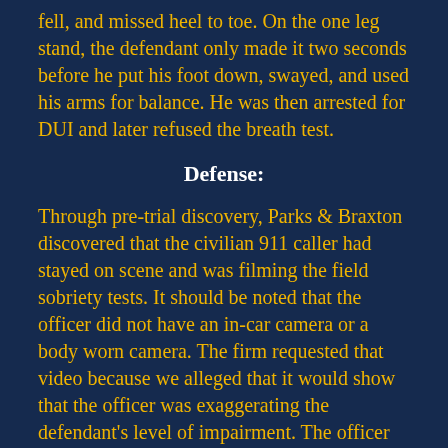fell, and missed heel to toe. On the one leg stand, the defendant only made it two seconds before he put his foot down, swayed, and used his arms for balance. He was then arrested for DUI and later refused the breath test.
Defense:
Through pre-trial discovery, Parks & Braxton discovered that the civilian 911 caller had stayed on scene and was filming the field sobriety tests. It should be noted that the officer did not have an in-car camera or a body worn camera. The firm requested that video because we alleged that it would show that the officer was exaggerating the defendant's level of impairment. The officer made no effort to get a copy